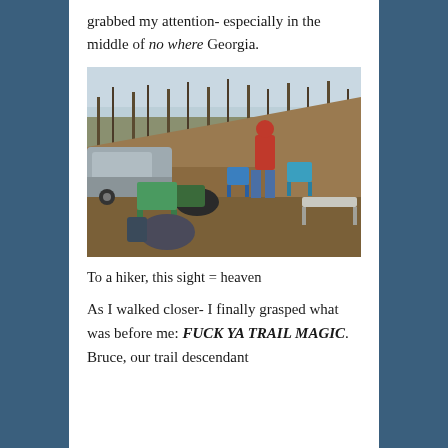grabbed my attention- especially in the middle of no where Georgia.
[Figure (photo): Outdoor scene at a parking area or trailhead. A person in a red jacket and blue jeans stands among camping chairs, a cooler, and gear. A car is parked to the left, and bare winter trees and a dirt hillside are visible in the background.]
To a hiker, this sight = heaven
As I walked closer- I finally grasped what was before me: FUCK YA TRAIL MAGIC. Bruce, our trail descendant